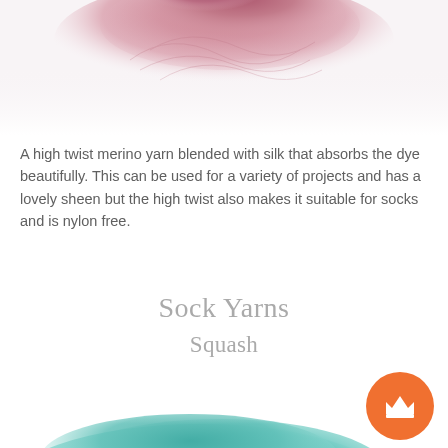[Figure (photo): Pink/mauve merino silk yarn skein photographed from above on white background]
A high twist merino yarn blended with silk that absorbs the dye beautifully. This can be used for a variety of projects and has a lovely sheen but the high twist also makes it suitable for socks and is nylon free.
Sock Yarns
Squash
[Figure (photo): Turquoise/teal hand-dyed yarn skeins with blue and white speckles, bundled together, photographed on white background]
[Figure (illustration): Orange circular badge with white crown icon]